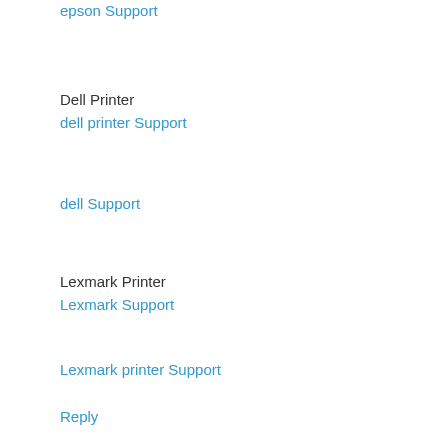epson Support
Dell Printer
dell printer Support
dell Support
Lexmark Printer
Lexmark Support
Lexmark printer Support
Reply
djbravo  May 2, 2019 at 2:57 PM
hp Printer
hp printer Support
hp Support
brother printer